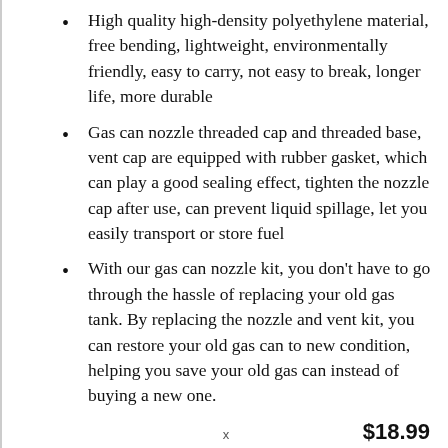High quality high-density polyethylene material, free bending, lightweight, environmentally friendly, easy to carry, not easy to break, longer life, more durable
Gas can nozzle threaded cap and threaded base, vent cap are equipped with rubber gasket, which can play a good sealing effect, tighten the nozzle cap after use, can prevent liquid spillage, let you easily transport or store fuel
With our gas can nozzle kit, you don't have to go through the hassle of replacing your old gas tank. By replacing the nozzle and vent kit, you can restore your old gas can to new condition, helping you save your old gas can instead of buying a new one.
$18.99
Check Price on Amazon